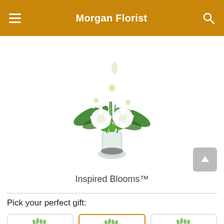Morgan Florist
[Figure (photo): White floral arrangement with lilies, gerbera daisies, and green foliage in a clear glass vase with dark pebbles at the base]
Inspired Blooms™
Pick your perfect gift: